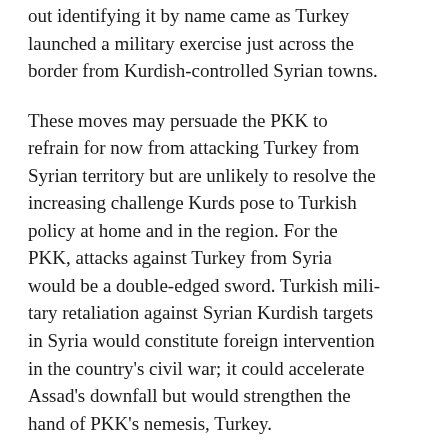out identifying it by name came as Turkey launched a military exercise just across the border from Kurdish-controlled Syrian towns.
These moves may persuade the PKK to refrain for now from attacking Turkey from Syrian territory but are unlikely to resolve the increasing challenge Kurds pose to Turkish policy at home and in the region. For the PKK, attacks against Turkey from Syria would be a double-edged sword. Turkish military retaliation against Syrian Kurdish targets in Syria would constitute foreign intervention in the country's civil war; it could accelerate Assad's downfall but would strengthen the hand of PKK's nemesis, Turkey.